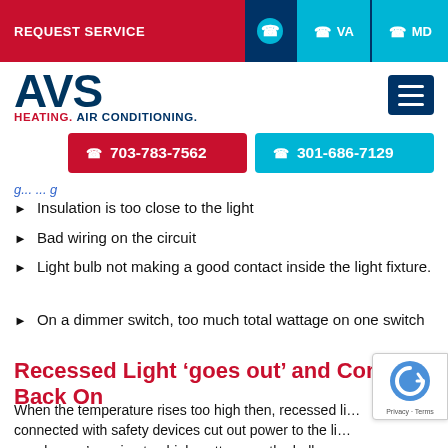REQUEST SERVICE | VA | MD
[Figure (logo): AVS Heating. Air Conditioning. logo with hamburger menu button]
[Figure (infographic): Two phone number buttons: red 703-783-7562 and blue 301-686-7129]
(partial/cut-off blue link text)
Insulation is too close to the light
Bad wiring on the circuit
Light bulb not making a good contact inside the light fixture.
On a dimmer switch, too much total wattage on one switch
Recessed Light ‘goes out’ and Comes Back On
When the temperature rises too high then, recessed li… connected with safety devices cut out power to the li… may be you’re using too high wattage on the bulb, or